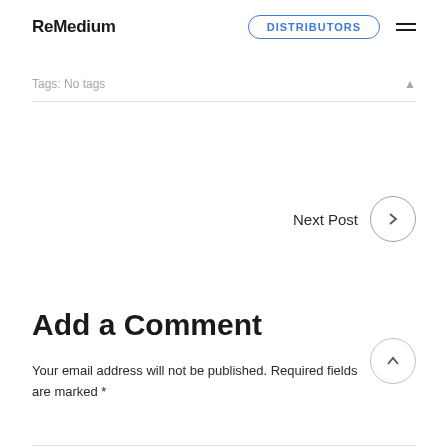ReMedium | DISTRIBUTORS
Tags: No tags
Next Post
Add a Comment
Your email address will not be published. Required fields are marked *